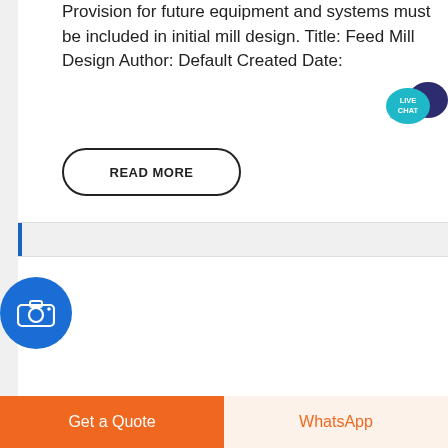Provision for future equipment and systems must be included in initial mill design. Title: Feed Mill Design Author: Default Created Date:
[Figure (other): Live Chat speech bubble icon in teal/dark blue]
READ MORE
[Figure (other): Blue circle with camera icon]
WHEAT MILLING PROCESS FLOW IMAGES - SAFARI-TIPPS.DE
[Figure (photo): Photo of rocks and soil on the ground]
Get a Quote
WhatsApp